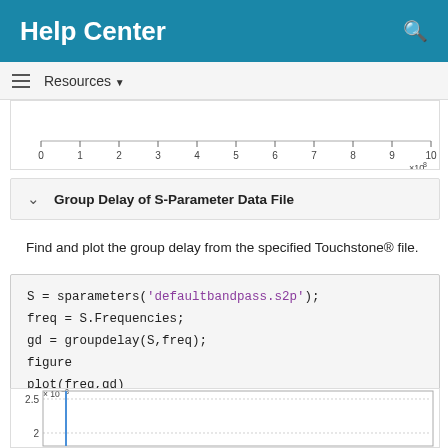Help Center
Resources ▼
[Figure (continuous-plot): Top portion of a frequency-domain plot, showing x-axis ticks from 0 to 10 with label ×10^8]
Group Delay of S-Parameter Data File
Find and plot the group delay from the specified Touchstone® file.
[Figure (continuous-plot): Bottom portion of a group delay plot, showing y-axis values around 2 to 2.5 ×10^-8, with a blue vertical line near the left edge]